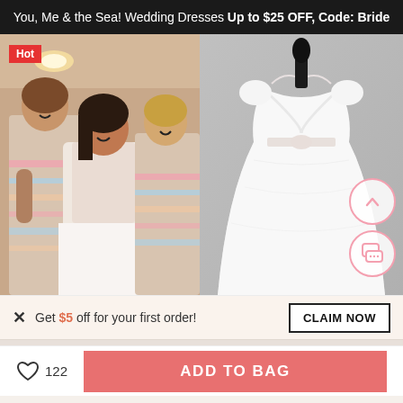You, Me & the Sea! Wedding Dresses Up to $25 OFF, Code: Bride
[Figure (photo): Left: Photo of a bride in a lace long-sleeve wedding dress being helped by two bridesmaids in pastel striped dresses. Right: Product photo of a white empire-waist wedding dress with short sleeves on a mannequin.]
Get $5 off for your first order!
CLAIM NOW
122
ADD TO BAG